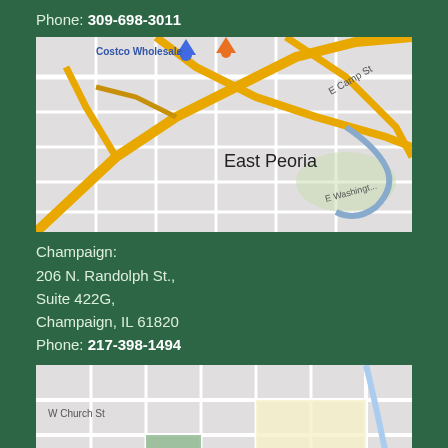Phone: 309-698-3011
[Figure (map): Map showing East Peoria area with roads including E Camp St and E Washington, yellow/orange arterial roads on grey street grid background]
Champaign:
206 N. Randolph St.,
Suite 422G,
Champaign, IL 61820
Phone: 217-398-1494
[Figure (map): Map showing Champaign city area with W Church St, W University Ave, green park block, and County label in blue]
Decatur:
2510 N Parkway Ct,
Decatur IL 62526,
Phone: 217-619-8140